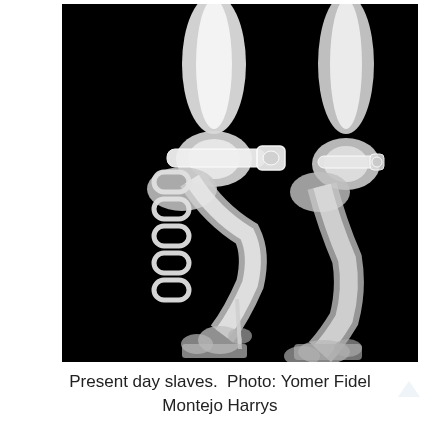[Figure (photo): X-ray image of two human feet wearing high-heeled shoes with ankle straps and a chain hanging from the left ankle, displayed in black and white radiograph style against a black background.]
Present day slaves.  Photo: Yomer Fidel Montejo Harrys